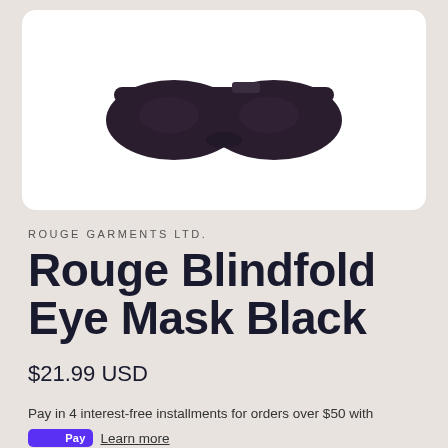[Figure (photo): Dark navy/black blindfold eye mask with elastic band strap, photographed on white background]
ROUGE GARMENTS LTD.
Rouge Blindfold Eye Mask Black
$21.99 USD
Pay in 4 interest-free installments for orders over $50 with
shop Pay  Learn more
Quantity